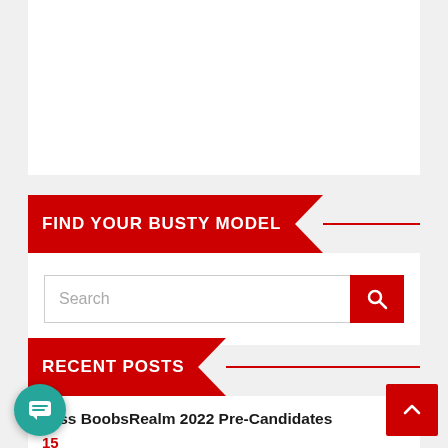[Figure (other): White content box at the top]
FIND YOUR BUSTY MODEL
[Figure (other): Search box with red search button]
RECENT POSTS
Miss BoobsRealm 2022 Pre-Candidates
15
Finally! Mady Gio Goes Full Topless, Becomes best of the year